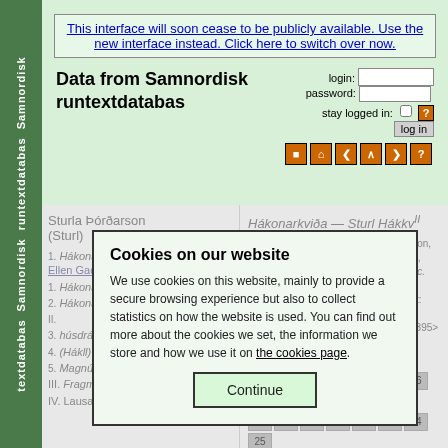Samnordisk runtextdatabas
This interface will soon cease to be publicly available. Use the new interface instead. Click here to switch over now.
Data from Samnordisk runtextdatabas
login: password: stay logged in: log in
Sturla Þórðarson (Sturl)
Hákonarkviða — Sturl Hákkv II
Kari Ellen Gade 2009, 'Sturla Þórðarson, Hákonarkviða' in Kari Ellen Gade (ed.), Poetry from the Kings' Sagas 2: From c. 1035 to c. 1300. Skaldic Poetry of the Scandinavian Middle Ages 2. Turnhout: Brepols, pp. 699-727. <https://skaldic.org/m.php?p=text&l=1395> (accessed 22 August 2022)
stanzas: 1 2 3 4 5 6 7 8 9 10 11 12 13 14 15 16 17 18 19 20 21 22 23 24 25
Cookies on our website
We use cookies on this website, mainly to provide a secure browsing experience but also to collect statistics on how the website is used. You can find out more about the cookies we set, the information we store and how we use it on the cookies page.
Continue